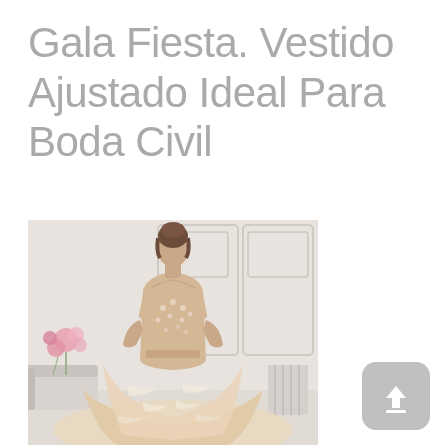Gala Fiesta. Vestido Ajustado Ideal Para Boda Civil
[Figure (photo): Model wearing a glamorous champagne/blush ballgown with floral lace appliqué bodice and full layered skirt, posed in an elegant white interior with paneled walls. Pink flowers visible on the left side.]